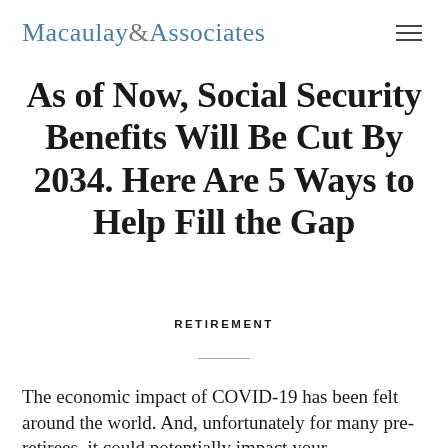Macaulay&Associates
As of Now, Social Security Benefits Will Be Cut By 2034. Here Are 5 Ways to Help Fill the Gap
RETIREMENT
The economic impact of COVID-19 has been felt around the world. And, unfortunately for many pre-retirees, it could potentially impact your